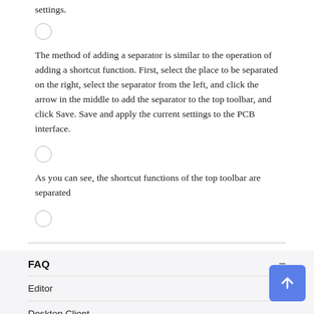settings.
The method of adding a separator is similar to the operation of adding a shortcut function. First, select the place to be separated on the right, select the separator from the left, and click the arrow in the middle to add the separator to the top toolbar, and click Save. Save and apply the current settings to the PCB interface.
As you can see, the shortcut functions of the top toolbar are separated
FAQ
Editor
Desktop Client
Update Record